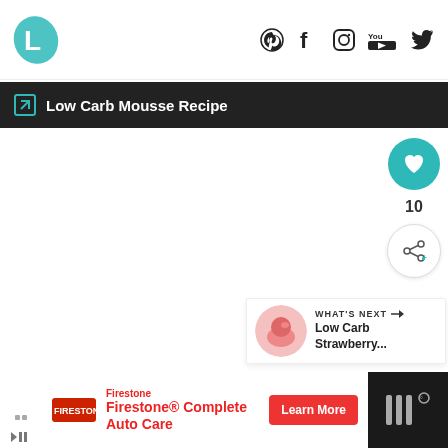L [logo] | Pinterest Facebook Instagram YouTube Twitter
Low Carb Mousse Recipe
[Figure (screenshot): Main content area - blank white video/content area]
10
WHAT'S NEXT → Low Carb Strawberry...
[Figure (photo): Firestone Complete Auto Care advertisement banner]